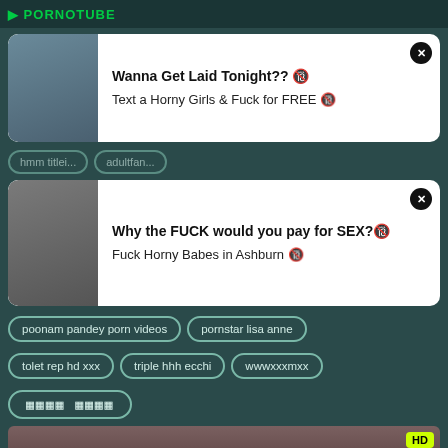PORNOTUBE
[Figure (screenshot): Advertisement popup with woman image: Wanna Get Laid Tonight?? Text a Horny Girls & Fuck for FREE]
[Figure (screenshot): Advertisement popup with woman image: Why the FUCK would you pay for SEX? Fuck Horny Babes in Ashburn]
poonam pandey porn videos
pornstar lisa anne
tolet rep hd xxx
triple hhh ecchi
wwwxxxmxx
[Figure (screenshot): Video thumbnail showing two people, HD badge in top right corner]